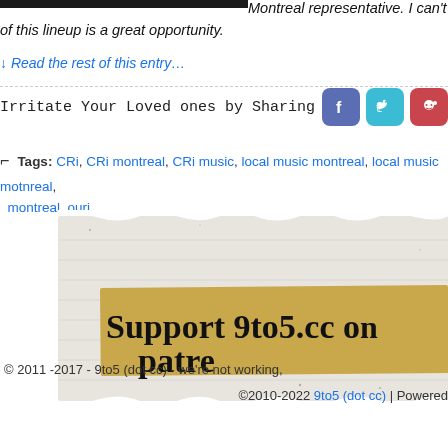[Figure (photo): Dark/black image bar at top left]
Montreal representative. I can't wait of this lineup is a great opportunity.
↓ Read the rest of this entry…
Irritate Your Loved ones by Sharing
[Figure (logo): Facebook, Twitter, Reddit share icons]
Tags: CRi, CRi montreal, CRi music, local music montreal, local music motnreal, montreal, ouri
[Figure (illustration): Torn paper banner with handwritten text: Support 9to5.cc on Patre...]
© 2011 -2017 - 9to5 (dot cc) - we're not working,
©2010-2022 9to5 (dot cc) | Powered